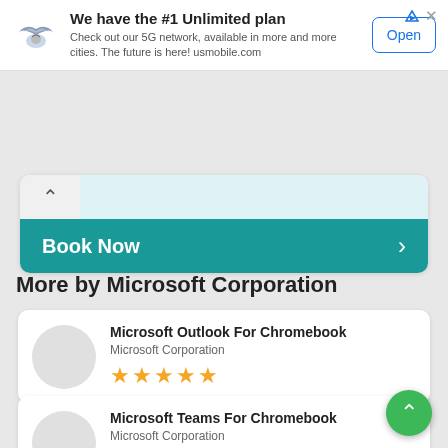[Figure (screenshot): Advertisement banner for US Mobile showing logo, headline 'We have the #1 Unlimited plan', subtext about 5G network, and Open button]
[Figure (screenshot): Collapsed booking card with chevron up icon, teal highlight area, and 'Book Now' button with right arrow]
More by Microsoft Corporation
[Figure (screenshot): App listing card: Microsoft Outlook For Chromebook by Microsoft Corporation with 5 gold stars]
[Figure (screenshot): App listing card: Microsoft Teams For Chromebook by Microsoft Corporation with star rating]